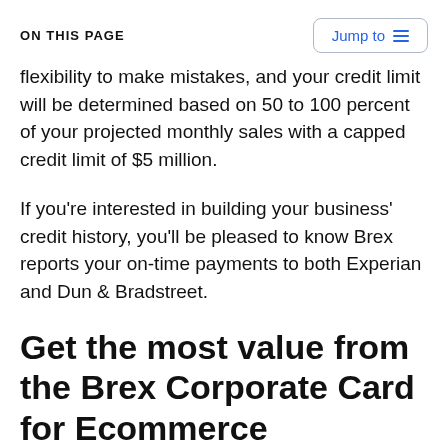ON THIS PAGE
flexibility to make mistakes, and your credit limit will be determined based on 50 to 100 percent of your projected monthly sales with a capped credit limit of $5 million.
If you're interested in building your business' credit history, you'll be pleased to know Brex reports your on-time payments to both Experian and Dun & Bradstreet.
Get the most value from the Brex Corporate Card for Ecommerce